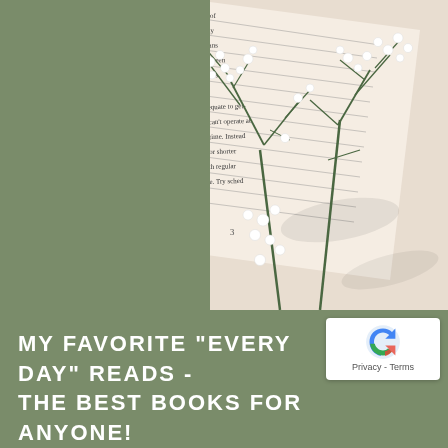[Figure (photo): An open book with text pages visible and baby's breath flowers (gypsophila) with white blooms on green stems resting on the book and a light-colored surface, casting shadows. The left portion of the image has a sage green background.]
MY FAVORITE "EVERY DAY" READS - THE BEST BOOKS FOR ANYONE!